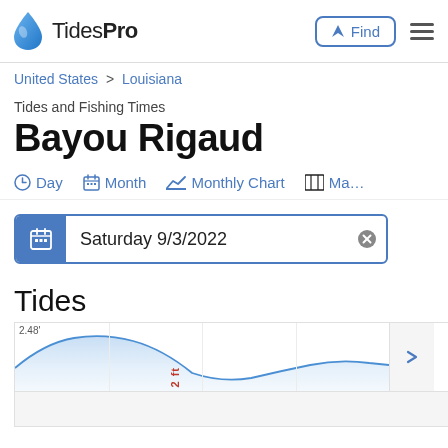TidesPro
United States > Louisiana
Tides and Fishing Times
Bayou Rigaud
Day  Month  Monthly Chart  Ma…
Saturday 9/3/2022
Tides
[Figure (continuous-plot): Tide chart showing tide level for Bayou Rigaud on Saturday 9/3/2022, with a high tide label of 2.48ft and a red vertical label of 2ft visible]